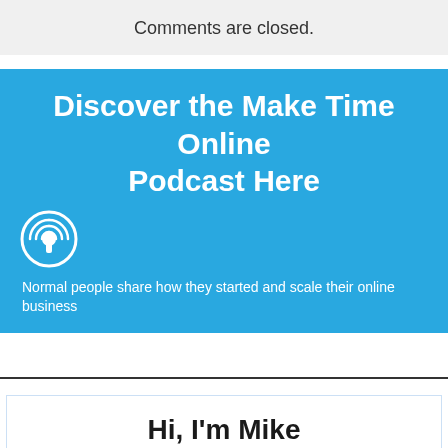Comments are closed.
Discover the Make Time Online Podcast Here
Normal people share how they started and scale their online business
Hi, I'm Mike
I built a passive income online working as a full time PE teacher with no prior marketing or technical experience.